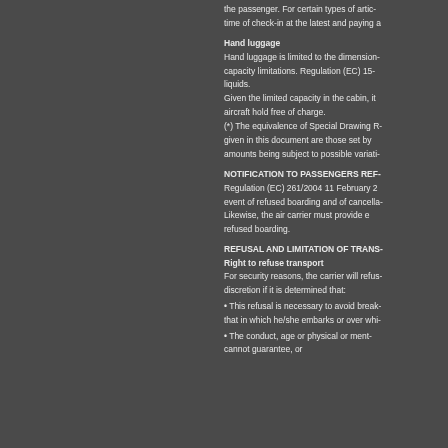the passenger. For certain types of articles, at the time of check-in at the latest and paying a
Hand luggage
Hand luggage is limited to the dimensions and capacity limitations. Regulation (EC) 15... liquids.
Given the limited capacity in the cabin, it... aircraft hold free of charge.
(*) The equivalence of Special Drawing Rights given in this document are those set by... amounts being subject to possible variation
NOTIFICATION TO PASSENGERS REF...
Regulation (EC) 261/2004 11 February 2... event of refused boarding and of cancella... Likewise, the air carrier must provide e... refused boarding.
REFUSAL AND LIMITATION OF TRANS...
Right to refuse transport
For security reasons, the carrier will refus... discretion if it is determined that:
• This refusal is necessary to avoid break... that in which he/she embarks or over whi...
• The conduct, age or physical or ment... cannot guarantee, or